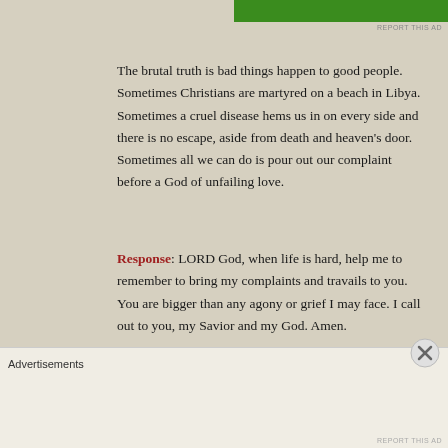[Figure (other): Green banner/bar at top of page]
The brutal truth is bad things happen to good people. Sometimes Christians are martyred on a beach in Libya. Sometimes a cruel disease hems us in on every side and there is no escape, aside from death and heaven's door. Sometimes all we can do is pour out our complaint before a God of unfailing love.
Response: LORD God, when life is hard, help me to remember to bring my complaints and travails to you. You are bigger than any agony or grief I may face. I call out to you, my Savior and my God. Amen.
Your Turn: Do you feel God been unfair to you? How have you responded?
Advertisements